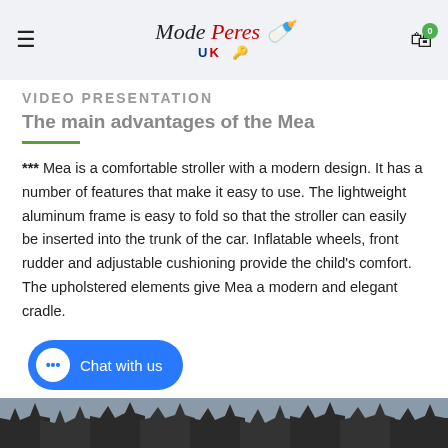Mode Peres UK — website header with hamburger menu and shopping cart
VIDEO PRESENTATION
The main advantages of the Mea
*** Mea is a comfortable stroller with a modern design. It has a number of features that make it easy to use. The lightweight aluminum frame is easy to fold so that the stroller can easily be inserted into the trunk of the car. Inflatable wheels, front rudder and adjustable cushioning provide the child's comfort. The upholstered elements give Mea a modern and elegant cradle.